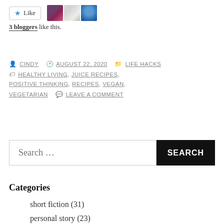[Figure (other): Like button with star icon and 3 blogger avatars]
3 bloggers like this.
CINDY  AUGUST 22, 2020  LIFE HACKS  HEALTHY LIVING, JUICE RECIPES, POSITIVE THINKING, RECIPES, VEGAN, VEGETARIAN  LEAVE A COMMENT
Search ...
Categories
short fiction (31)
personal story (23)
commentary (21)
Cat fiction (18)